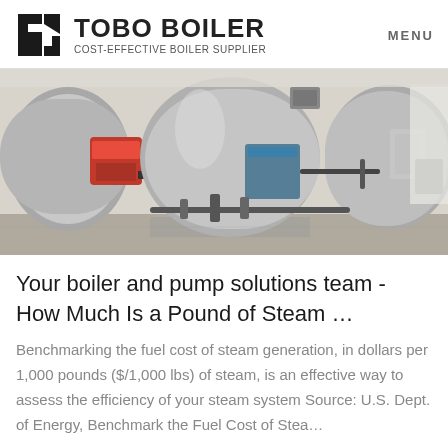TOBO BOILER — COST-EFFECTIVE BOILER SUPPLIER | MENU
[Figure (photo): Industrial boiler room with large cylindrical horizontal boilers, red burner components, pipes, and concrete floor in a white-walled facility.]
Your boiler and pump solutions team - How Much Is a Pound of Steam …
Benchmarking the fuel cost of steam generation, in dollars per 1,000 pounds ($/1,000 lbs) of steam, is an effective way to assess the efficiency of your steam system Source: U.S. Dept. of Energy, Benchmark the Fuel Cost of Stea…